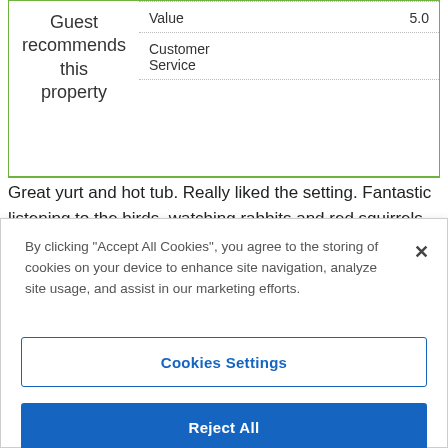|  | Category | Score |
| --- | --- | --- |
| Guest recommends this property | Value | 5.0 |
|  | Customer Service | 5.0 |
Great yurt and hot tub. Really liked the setting. Fantastic listening to the birds, watching rabbits and red squirrels. Definitely recommend this experience to anyone.
By clicking "Accept All Cookies", you agree to the storing of cookies on your device to enhance site navigation, analyze site usage, and assist in our marketing efforts.
Cookies Settings
Reject All
Accept All Cookies